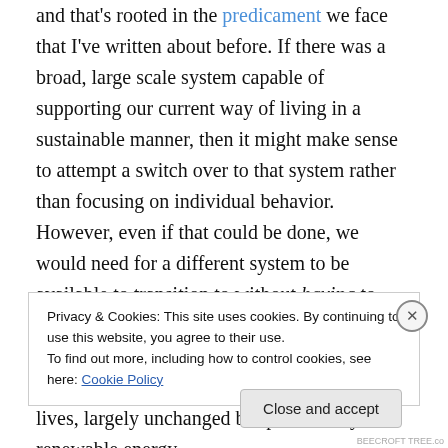and that's rooted in the predicament we face that I've written about before. If there was a broad, large scale system capable of supporting our current way of living in a sustainable manner, then it might make sense to attempt a switch over to that system rather than focusing on individual behavior. However, even if that could be done, we would need for a different system to be available to transition to without having to change individual action. We would need, in other words, the system that so many people in our society like to advocate: our current lives, largely unchanged but powered by renewable energy.
Privacy & Cookies: This site uses cookies. By continuing to use this website, you agree to their use.
To find out more, including how to control cookies, see here: Cookie Policy